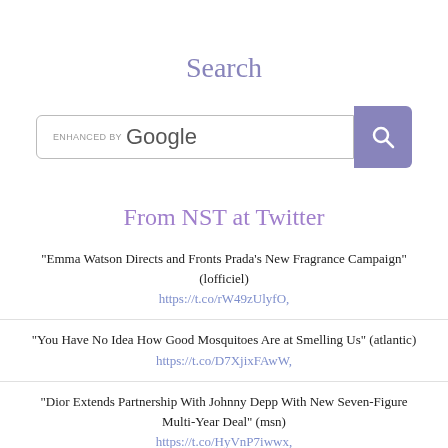Search
[Figure (screenshot): Google custom search bar with 'ENHANCED BY Google' placeholder text and a purple search button with magnifying glass icon]
From NST at Twitter
"Emma Watson Directs and Fronts Prada’s New Fragrance Campaign" (lofficiel) https://t.co/rW49zUlyfO,
"You Have No Idea How Good Mosquitoes Are at Smelling Us" (atlantic) https://t.co/D7XjixFAwW,
"Dior Extends Partnership With Johnny Depp With New Seven-Figure Multi-Year Deal" (msn) https://t.co/HyVnP7iwwx,